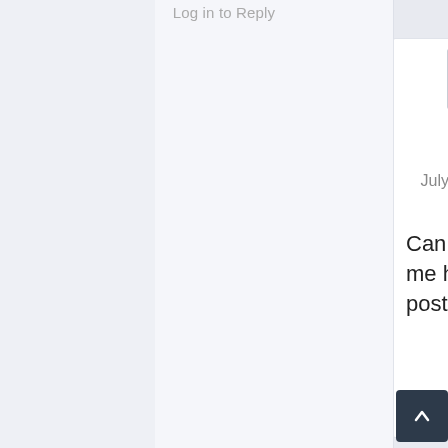Log in to Reply
[Figure (illustration): Generic user avatar icon — gray silhouette of a person on light gray background]
1234
says:
July 15, 2017 at 9:15 pm
Can you help me how to post a